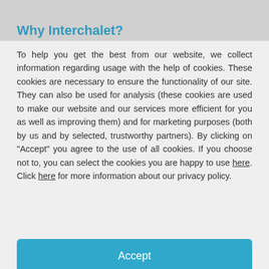Why Interchalet?
To help you get the best from our website, we collect information regarding usage with the help of cookies. These cookies are necessary to ensure the functionality of our site. They can also be used for analysis (these cookies are used to make our website and our services more efficient for you as well as improving them) and for marketing purposes (both by us and by selected, trustworthy partners). By clicking on "Accept" you agree to the use of all cookies. If you choose not to, you can select the cookies you are happy to use here. Click here for more information about our privacy policy.
Accept
Decline
Configure